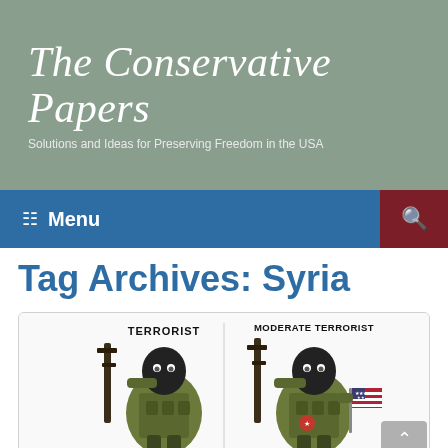The Conservative Papers
Solutions and Ideas for Preserving Freedom in the USA
Menu
Tag Archives: Syria
[Figure (illustration): A cartoon/illustration showing two masked armed figures side by side. Left figure labeled 'TERRORIST', right figure labeled 'MODERATE TERRORIST'. The right figure holds an American flag. Both are depicted in military/tactical gear holding rifles.]